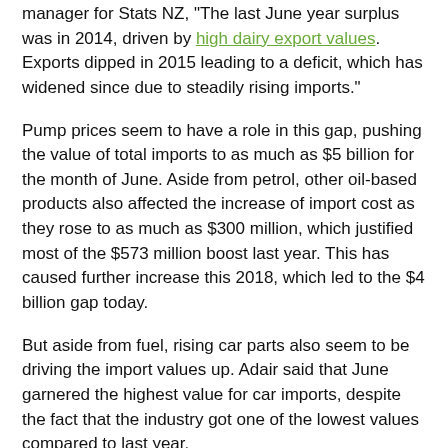manager for Stats NZ, "The last June year surplus was in 2014, driven by high dairy export values. Exports dipped in 2015 leading to a deficit, which has widened since due to steadily rising imports."
Pump prices seem to have a role in this gap, pushing the value of total imports to as much as $5 billion for the month of June. Aside from petrol, other oil-based products also affected the increase of import cost as they rose to as much as $300 million, which justified most of the $573 million boost last year. This has caused further increase this 2018, which led to the $4 billion gap today.
But aside from fuel, rising car parts also seem to be driving the import values up. Adair said that June garnered the highest value for car imports, despite the fact that the industry got one of the lowest values compared to last year.
Vehicles, vehicle parts, and accessories actually fell by $14 million compared to the same period last year, but it still affected 2018's trade numbers.